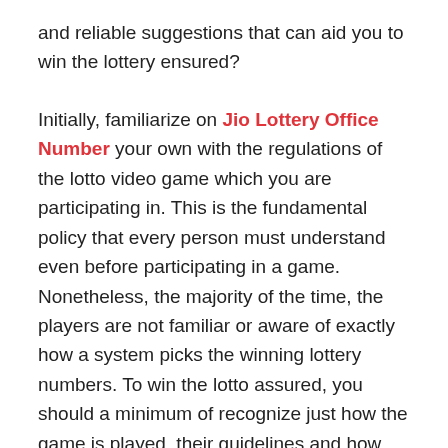and reliable suggestions that can aid you to win the lottery ensured?
Initially, familiarize on Jio Lottery Office Number your own with the regulations of the lotto video game which you are participating in. This is the fundamental policy that every person must understand even before participating in a game. Nonetheless, the majority of the time, the players are not familiar or aware of exactly how a system picks the winning lottery numbers. To win the lotto assured, you should a minimum of recognize just how the game is played, their guidelines and how the winning numbers are picked.
Second, play with the very same combinations of